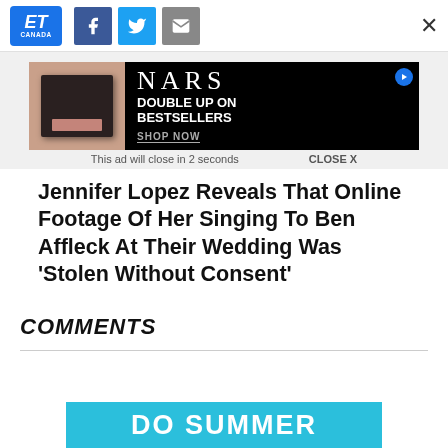ET Canada | Facebook | Twitter | Email | Close
[Figure (screenshot): NARS advertisement banner: 'DOUBLE UP ON BESTSELLERS SHOP NOW'. This ad will close in 2 seconds. CLOSE X]
Jennifer Lopez Reveals That Online Footage Of Her Singing To Ben Affleck At Their Wedding Was ‘Stolen Without Consent’
COMMENTS
[Figure (screenshot): Partial blue banner at bottom showing 'DO SUMMER' in white bold text on cyan/teal background]